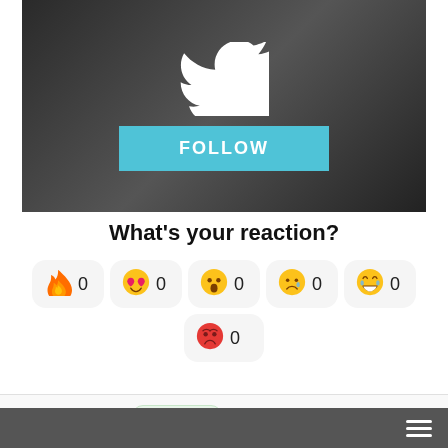[Figure (screenshot): Twitter/X social media header image with police officers in black and white background, white Twitter bird logo, and a cyan FOLLOW button]
What's your reaction?
🔥 0  😍 0  😮 0  😢 0  😂 0
😡 0
0 Comments  1 ONLINE  Sort By Best
Be the first to comment...  LOGIN  SIGNUP